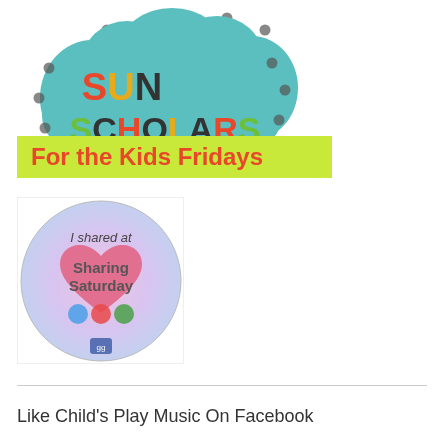[Figure (logo): Sun Scholars logo: teal cloud shape with dark dots pattern, text 'SUN SCHOLARS' in multicolored letters, with yellow-green banner below reading 'For the Kids Fridays' in red]
[Figure (illustration): Circular badge/button image with pastel pink/purple background, text reading 'I shared at Sharing Saturday' with a heart graphic in the center and social media icons]
Like Child's Play Music On Facebook